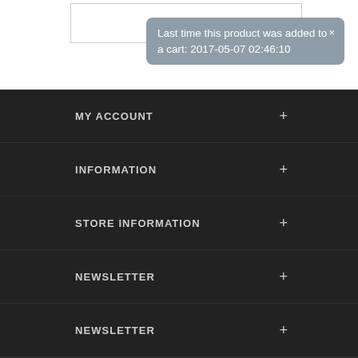Last time this product was added to a cart: 2017-05-07 02:46:10
MY ACCOUNT
INFORMATION
STORE INFORMATION
NEWSLETTER
NEWSLETTER